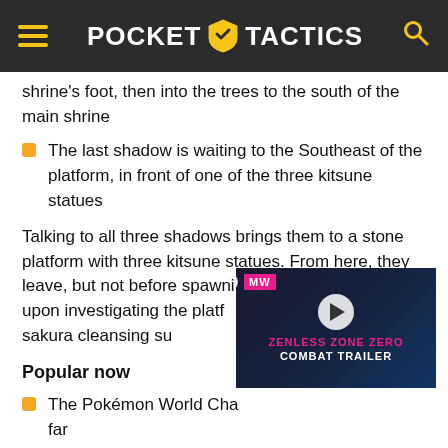POCKET TACTICS
shrine's foot, then into the trees to the south of the main shrine
The last shadow is waiting to the Southeast of the platform, in front of one of the three kitsune statues
Talking to all three shadows brings them to a stone platform with three kitsune statues. From here, they leave, but not before spawning three ghosts. Finally, upon investigating the platform, you trigger a sacred sakura cleansing su...
Popular now
The Pokémon World Cha... far
Cult of the Lamb Switch review – a little undercooked
[Figure (screenshot): Video ad overlay for Zenless Zone Zero Combat Trailer by MW (Meet Walkers), with play button on dark background]